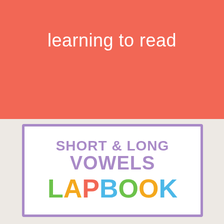learning to read
[Figure (illustration): Colorful educational lapbook cover with purple border box on light background. Text reads: SHORT & LONG VOWELS LAPBOOK, where LAPBOOK letters are multi-colored (green, yellow, red, blue).]